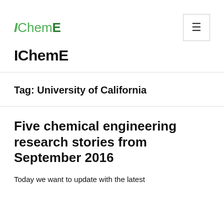[Figure (logo): IChemE logo in green text]
IChemE
Tag: University of California
Five chemical engineering research stories from September 2016
Today we want to update with the latest...